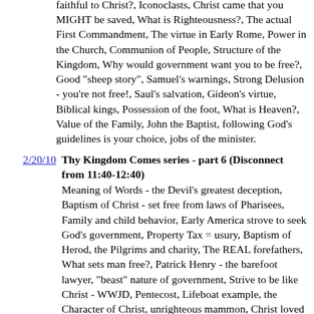faithful to Christ?, Iconoclasts, Christ came that you MIGHT be saved, What is Righteousness?, The actual First Commandment, The virtue in Early Rome, Power in the Church, Communion of People, Structure of the Kingdom, Why would government want you to be free?, Good "sheep story", Samuel's warnings, Strong Delusion - you're not free!, Saul's salvation, Gideon's virtue, Biblical kings, Possession of the foot, What is Heaven?, Value of the Family, John the Baptist, following God's guidelines is your choice, jobs of the minister.
2/20/10 Thy Kingdom Comes series - part 6 (Disconnect from 11:40-12:40) Meaning of Words - the Devil's greatest deception, Baptism of Christ - set free from laws of Pharisees, Family and child behavior, Early America strove to seek God's government, Property Tax = usury, Baptism of Herod, the Pilgrims and charity, The REAL forefathers, What sets man free?, Patrick Henry - the barefoot lawyer, "beast" nature of government, Strive to be like Christ - WWJD, Pentecost, Lifeboat example, the Character of Christ, unrighteous mammon, Christ loved Peter even when he denied,